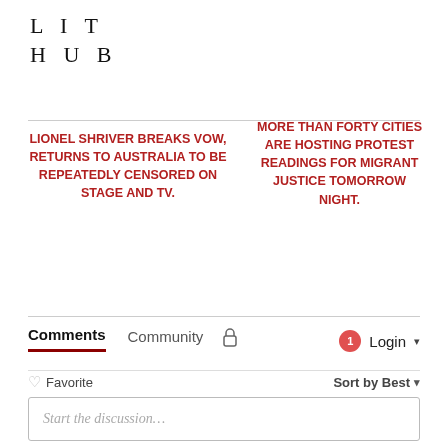LIT HUB
LIONEL SHRIVER BREAKS VOW, RETURNS TO AUSTRALIA TO BE REPEATEDLY CENSORED ON STAGE AND TV.
MORE THAN FORTY CITIES ARE HOSTING PROTEST READINGS FOR MIGRANT JUSTICE TOMORROW NIGHT.
Comments  Community  Login
Favorite  Sort by Best
Start the discussion…
LOG IN WITH